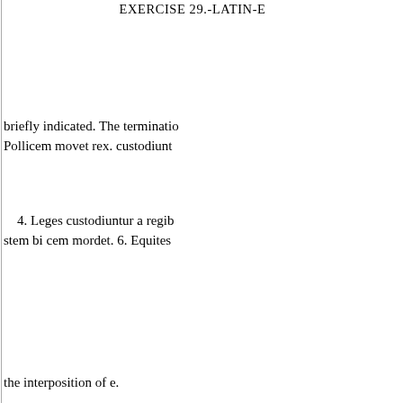EXERCISE 29.-LATIN-E
briefly indicated. The terminatio Pollicem movet rex. custodiunt
4. Leges custodiuntur a regib stem bi cem mordet. 6. Equites
the interposition of e.
Artifices urbes. 8 Derces artif because there is a vowel in the s ? 13.
is i. Vowel-stems, therefore, end magna est.
in i in the ablative singular ; for
in usage have e in both. Howeve 3. Has he a
and is thus declined: singular, v the neck, corn-land of the horse nouns,-namely, febris, a fever;